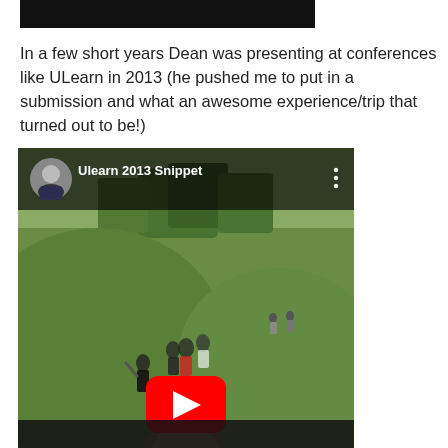[Figure (screenshot): Top portion of a video thumbnail (black bar, partially visible)]
In a few short years Dean was presenting at conferences like ULearn in 2013 (he pushed me to put in a submission and what an awesome experience/trip that turned out to be!)
[Figure (screenshot): YouTube video embed showing 'Ulearn 2013 Snippet' with a landscape scene of people walking on a grassy hillside path, with a red YouTube play button overlay and channel avatar in the top-left corner.]
[Figure (screenshot): Bottom portion of another video thumbnail (black bar, partially visible)]